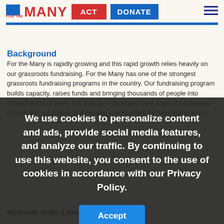FOR THE MANY | ACT | DONATE
Background
For the Many is rapidly growing and this rapid growth relies heavily on our grassroots fundraising. For the Many has one of the strongest grassroots fundraising programs in the country. Our fundraising program builds capacity, raises funds and bringing thousands of people into contact with our work. It is built by a dedicated core team of fundraising interns and volunteers and creates opportunities for fundraising learns.
We use cookies to personalize content and ads, provide social media features, and analyze our traffic. By continuing to use this website, you consent to the use of cookies in accordance with our Privacy Policy.
Minimum shifts & time co…